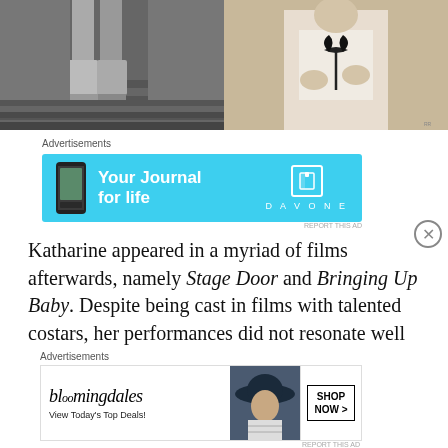[Figure (photo): Two black and white photos side by side: left shows a person's legs in tall boots on stairs, right shows a person in white blouse with a black ribbon.]
Advertisements
[Figure (screenshot): Advertisement banner for Day One app: 'Your Journal for life' with a phone graphic and book icon on cyan/blue background.]
Katharine appeared in a myriad of films afterwards, namely Stage Door and Bringing Up Baby. Despite being cast in films with talented costars, her performances did not resonate well with audiences and critics. Following this decline in her career, Hepburn took action to create her
Advertisements
[Figure (screenshot): Bloomingdale's advertisement banner: 'bloomingdales View Today's Top Deals!' with image of woman in hat and 'SHOP NOW >' button.]